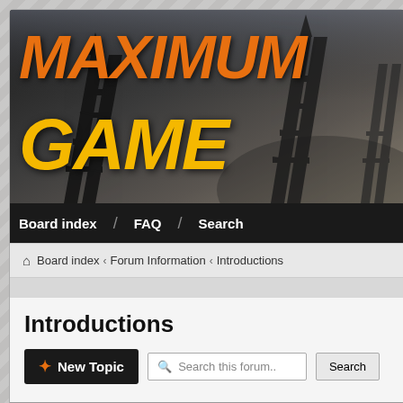[Figure (screenshot): Maximum Gamer forum banner with dark post-apocalyptic background showing electrical tower silhouettes, orange 'MAXIMUM' text and yellow 'GAME...' text]
Board index  /  FAQ  /  Search
Board index ‹ Forum Information ‹ Introductions
Introductions
✦ New Topic   🔍 Search this forum..  Search